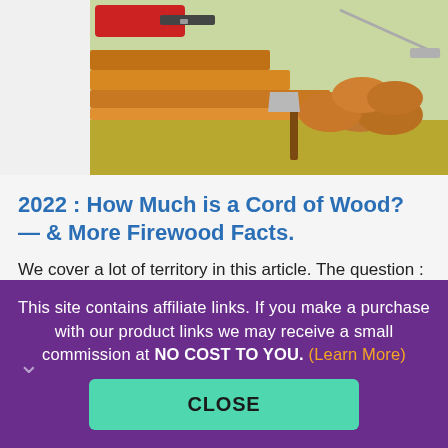[Figure (illustration): Illustration of firewood logs, a chainsaw, an axe, and a handsaw on a background with stacked lumber planks]
2022 : How Much is a Cord of Wood? — & More Firewood Facts.
We cover a lot of territory in this article. The question : "How much ... Read More...
This site contains affiliate links. If you make a purchase with our product links we may receive a small commission at NO COST TO YOU. (Learn More)
CLOSE